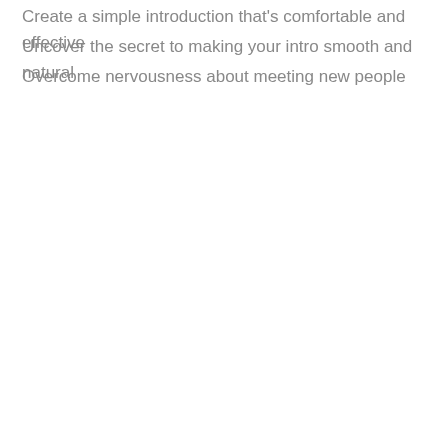Create a simple introduction that's comfortable and effective
Uncover the secret to making your intro smooth and natural
Overcome nervousness about meeting new people